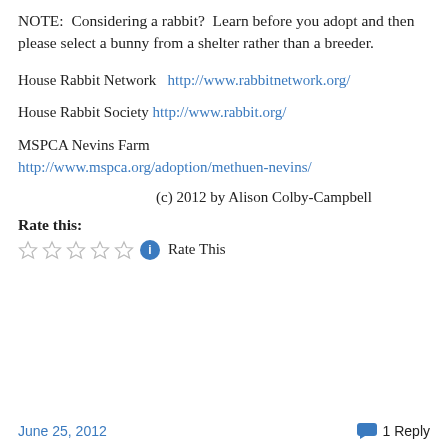NOTE:  Considering a rabbit?  Learn before you adopt and then please select a bunny from a shelter rather than a breeder.
House Rabbit Network  http://www.rabbitnetwork.org/
House Rabbit Society  http://www.rabbit.org/
MSPCA Nevins Farm
http://www.mspca.org/adoption/methuen-nevins/
(c) 2012 by Alison Colby-Campbell
Rate this:
Rate This
June 25, 2012   1 Reply